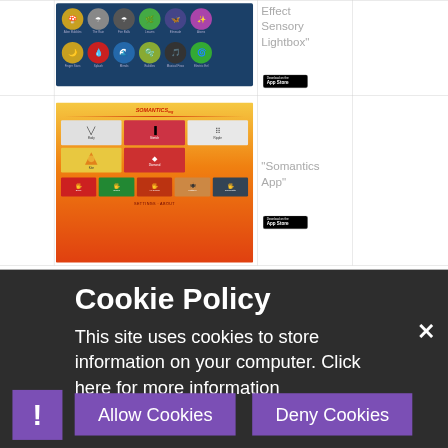[Figure (screenshot): Screenshot of 'Effect Sensory Lightbox' app showing colorful icons on dark background]
Effect Sensory Lightbox"
[Figure (screenshot): App Store download badge]
[Figure (screenshot): Screenshot of Somantics app showing gesture/touch interaction thumbnails on orange gradient background]
"Somantics App"
[Figure (screenshot): App Store download badge]
Cookie Policy
This site uses cookies to store information on your computer. Click here for more information
[Figure (other): Allow Cookies and Deny Cookies buttons with close X]
Allow Cookies
Deny Cookies